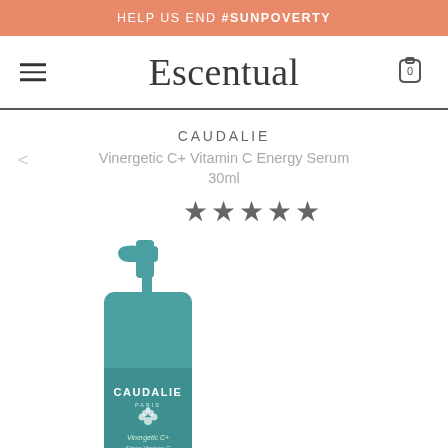HELP US END #SUNPOVERTY
Escentual
CAUDALIE
Vinergetic C+ Vitamin C Energy Serum 30ml
★★★★★
[Figure (photo): Caudalie Vinergetic C+ Vitamin C Energy Serum 30ml product bottle with teal pump dispenser, showing the CAUDALIE brand name and grape cluster logo on the label with 'Vinergetic C+' text and 'Sérum Vitamine C Anti-fatigue Vitamin C Energy Serum' description.]